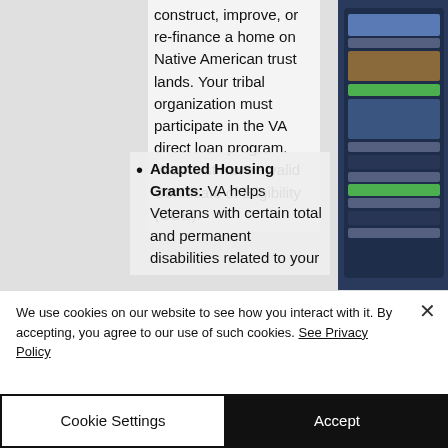construct, improve, or re-finance a home on Native American trust lands. Your tribal organization must participate in the VA direct loan program. You must have a valid Certificate of Eligibility (COE).
Adapted Housing Grants: VA helps Veterans with certain total and permanent disabilities related to your
We use cookies on our website to see how you interact with it. By accepting, you agree to our use of such cookies. See Privacy Policy
Cookie Settings
Accept